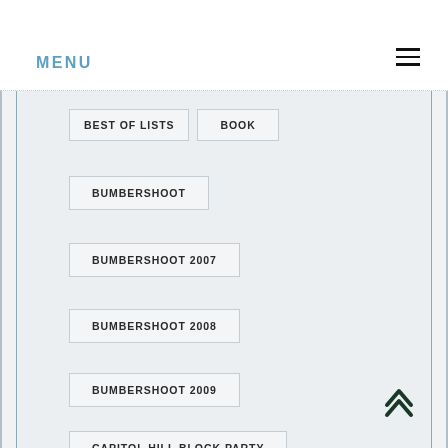MENU
BEST OF LISTS
BOOK
BUMBERSHOOT
BUMBERSHOOT 2007
BUMBERSHOOT 2008
BUMBERSHOOT 2009
CAPITOL HILL BLOCK PARTY
CAPITOL HILL BLOCK PARTY 2008